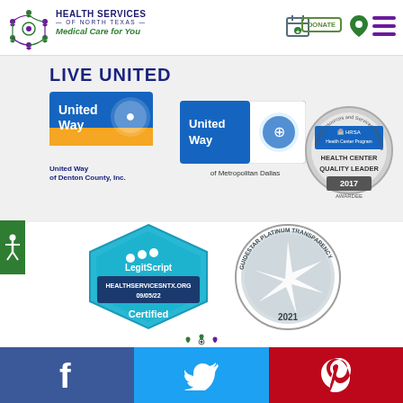[Figure (logo): Health Services of North Texas logo with tagline Medical Care for You and navigation icons including calendar, donate button, location pin, and hamburger menu]
[Figure (logo): Live United section with United Way of Denton County Inc logo, United Way of Metropolitan Dallas logo, and HRSA Health Center Quality Leader 2017 Awardee badge]
[Figure (logo): LegitScript certified badge for HEALTHSERVICESNTX.ORG 09/05/22]
[Figure (logo): GuideStar Platinum Transparency 2021 badge]
[Figure (logo): Health Services of North Texas icon logo]
[Figure (infographic): Social media bar with Facebook, Twitter, and Pinterest icons]